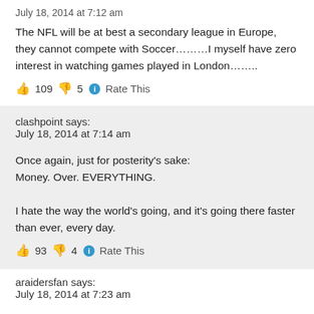July 18, 2014 at 7:12 am
The NFL will be at best a secondary league in Europe, they cannot compete with Soccer………I myself have zero interest in watching games played in London……..
👍 109 👎 5 ℹ Rate This
clashpoint says:
July 18, 2014 at 7:14 am
Once again, just for posterity's sake:
Money. Over. EVERYTHING.

I hate the way the world's going, and it's going there faster than ever, every day.
👍 93 👎 4 ℹ Rate This
araidersfan says:
July 18, 2014 at 7:23 am